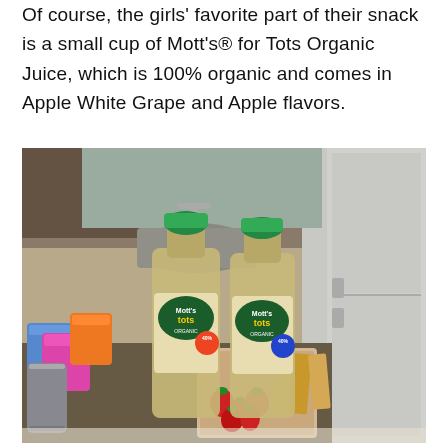Of course, the girls' favorite part of their snack is a small cup of Mott's® for Tots Organic Juice, which is 100% organic and comes in Apple White Grape and Apple flavors.
[Figure (photo): Photo of two bottles of Mott's for Tots Organic Juice on a kitchen counter with colorful cups, strawberries, and crackers on a wooden cutting board. Kitchen sink and refrigerator visible in background.]